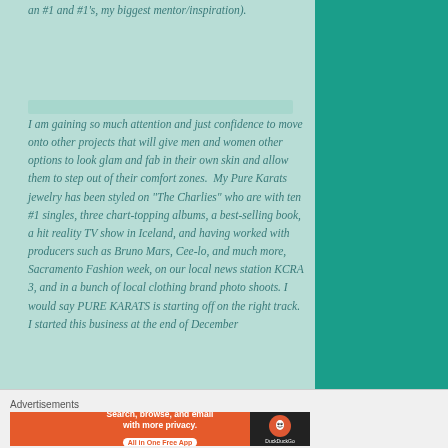an #1 and #1's, my biggest mentor/inspiration).
I am gaining so much attention and just confidence to move onto other projects that will give men and women other options to look glam and fab in their own skin and allow them to step out of their comfort zones.  My Pure Karats jewelry has been styled on "The Charlies" who are with ten #1 singles, three chart-topping albums, a best-selling book, a hit reality TV show in Iceland, and having worked with producers such as Bruno Mars, Cee-lo, and much more, Sacramento Fashion week, on our local news station KCRA 3, and in a bunch of local clothing brand photo shoots. I would say PURE KARATS is starting off on the right track. I started this business at the end of December
Advertisements
[Figure (screenshot): DuckDuckGo advertisement banner: 'Search, browse, and email with more privacy. All in One Free App' with DuckDuckGo duck logo on dark background]